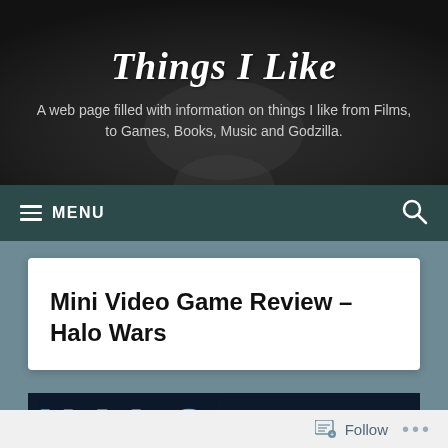Things I Like
A web page filled with information on things I like from Films, to Games, Books, Music and Godzilla.
≡ MENU
Mini Video Game Review – Halo Wars
[Figure (screenshot): Halo Wars game logo text on dark blue background]
Follow ...